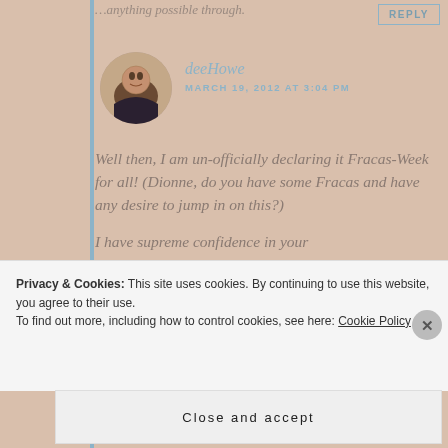…anything possible through.
REPLY
deeHowe
MARCH 19, 2012 AT 3:04 PM
Well then, I am un-officially declaring it Fracas-Week for all! (Dionne, do you have some Fracas and have any desire to jump in on this?)
I have supreme confidence in your
Privacy & Cookies: This site uses cookies. By continuing to use this website, you agree to their use.
To find out more, including how to control cookies, see here: Cookie Policy
Close and accept